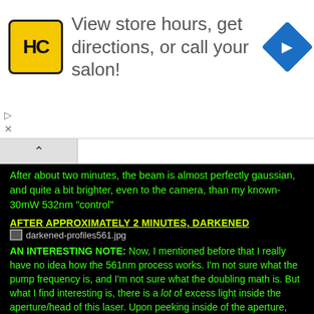[Figure (other): Advertisement banner: HC logo (yellow circle with HC text), text 'View store hours, get directions, or call your salon!', blue diamond arrow icon on the right. Small play/close controls bottom left.]
After about two minutes, the beam is almost perfectly gaussian, and quite a bit brighter, even to the camera, than my known-30mW 532nm "control"
AFTER APPROXIMATELY 2 MINUTES, DARKENED
darkened-profiles561.jpg
AN INTERESTING NOTE: Now, I mentioned before that I really have no idea how the 561nm process works. I'm not sure what the pump frequency is, and I'm not sure what the doubling math is. But what I find interesting is, there is a lot of excess light inside the aperture/head of this laser. Upon peeking inside of the aperture, where a normal, flat, IR filter would usually be, on this laser there is a thick, angled block of crystal of some sort.